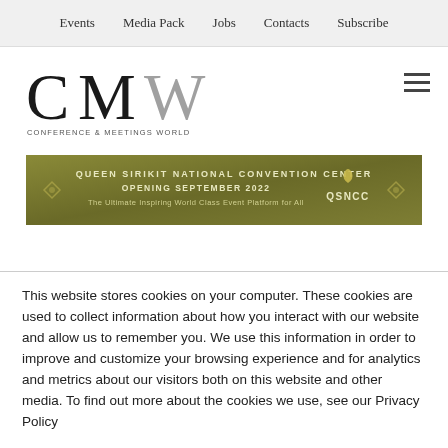Events   Media Pack   Jobs   Contacts   Subscribe
[Figure (logo): CMW Conference & Meetings World logo — large stylized 'CMW' letters with 'CONFERENCE & MEETINGS WORLD' text below]
[Figure (infographic): QSNCC banner advertisement: 'QUEEN SIRIKIT NATIONAL CONVENTION CENTER OPENING SEPTEMBER 2022 The Ultimate Inspiring World Class Event Platform for All' on olive/gold background with QSNCC logo]
This website stores cookies on your computer. These cookies are used to collect information about how you interact with our website and allow us to remember you. We use this information in order to improve and customize your browsing experience and for analytics and metrics about our visitors both on this website and other media. To find out more about the cookies we use, see our Privacy Policy
Accept